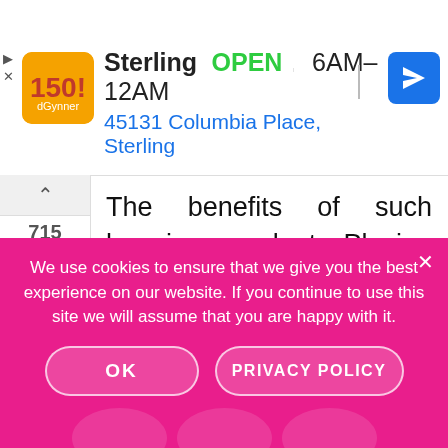[Figure (screenshot): Advertisement banner for Sterling restaurant: logo, 'OPEN', hours '6AM–12AM', address '45131 Columbia Place, Sterling', navigation icon]
The benefits of such learning are plenty. Playing allows children to learn by delaying gratification, negotiating with their peers, taking turns, coping with disappointment, solving problems, empathizing, and listening to others. High-level playing can include
We use cookies to ensure that we give you the best experience on our website. If you continue to use this site we will assume that you are happy with it.
OK
PRIVACY POLICY